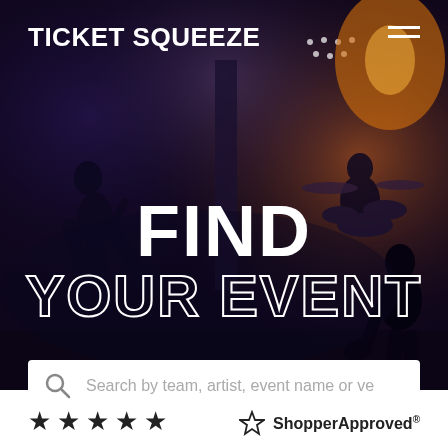[Figure (photo): Dark concert background photo showing band silhouettes on stage with dramatic blue and orange lighting and smoke effects]
TICKET SQUEEZE
FIND YOUR EVENT
Search by team, artist, event name or ve
★ ★ ★ ★ ★
[Figure (logo): ShopperApproved logo with star icon and text 'ShopperApproved']